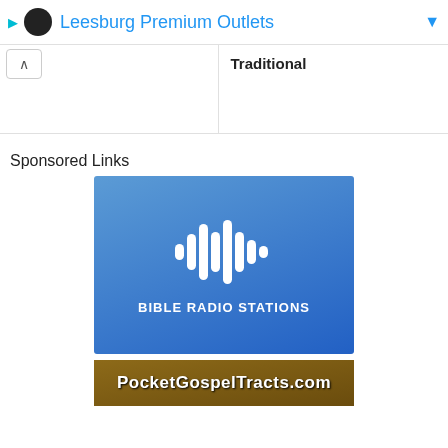Leesburg Premium Outlets
Traditional
Sponsored Links
[Figure (logo): Bible Radio Stations advertisement with blue gradient background, audio waveform icon, and text 'BIBLE RADIO STATIONS']
[Figure (logo): PocketGospelTracts.com advertisement banner]